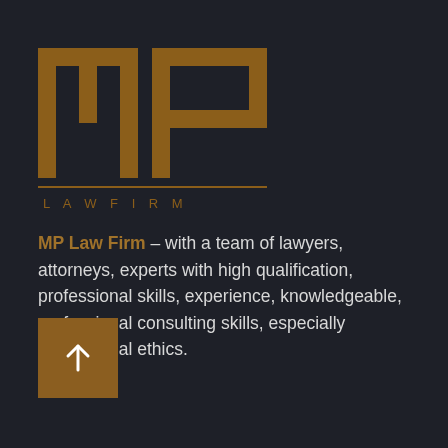[Figure (logo): MP Law Firm logo — large stylized golden block letters 'mp' above a horizontal rule with 'LAW FIRM' in spaced capitals, all in bronze/golden color on dark background]
MP Law Firm – with a team of lawyers, attorneys, experts with high qualification, professional skills, experience, knowledgeable, professional consulting skills, especially professional ethics.
[Figure (other): Golden/brown square button with a white upward arrow (↑) used as a scroll-to-top navigation element]